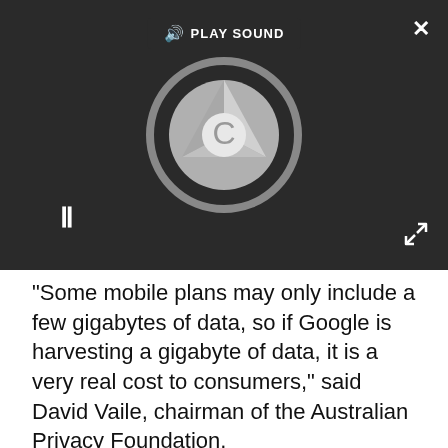[Figure (screenshot): Video/audio player overlay with dark background showing PLAY SOUND button at top center, a Chrome browser loading spinner circle in the middle, a pause (II) icon at bottom left, a close (X) button at top right, and an expand arrows icon at bottom right.]
"Some mobile plans may only include a few gigabytes of data, so if Google is harvesting a gigabyte of data, it is a very real cost to consumers," said David Vaile, chairman of the Australian Privacy Foundation.
A spokeswoman for the ACCC has said that the consumer watchdog "met with Oracle and is considering information it has provided about Google services".
"We are exploring how much consumers know about the use of location data and are working closely with the Privacy Commissioner," she added.